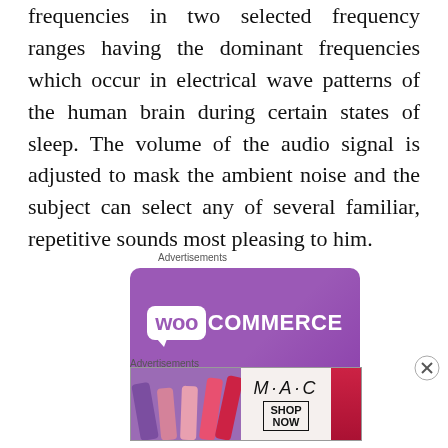frequencies in two selected frequency ranges having the dominant frequencies which occur in electrical wave patterns of the human brain during certain states of sleep. The volume of the audio signal is adjusted to mask the ambient noise and the subject can select any of several familiar, repetitive sounds most pleasing to him.
Advertisements
[Figure (logo): WooCommerce advertisement banner with purple background and white WooCommerce logo]
Advertisements
[Figure (photo): MAC cosmetics advertisement showing lipsticks in purple, pink, and red colors with MAC brand name and SHOP NOW button]